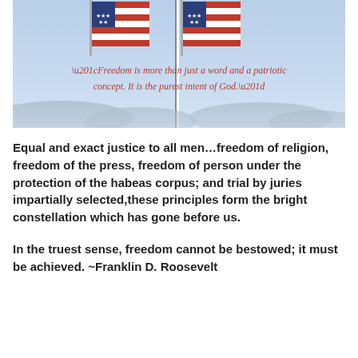[Figure (photo): Two-panel photo of an American flag waving against a blue sky with mountains in the distance. Overlaid on the lower portion is a red italic script quote: “Freedom is more than just a word and a patriotic concept. It is the purest intent of God.”]
Equal and exact justice to all men…freedom of religion, freedom of the press, freedom of person under the protection of the habeas corpus; and trial by juries impartially selected,these principles form the bright constellation which has gone before us.
In the truest sense, freedom cannot be bestowed; it must be achieved.  ~Franklin D. Roosevelt